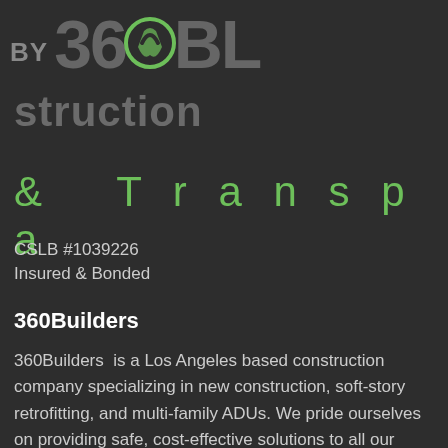[Figure (logo): 360Builders company logo — partial view showing 'BY 360BL' with a circular green icon between '360' and 'BL']
struction
& Transpa
CSLB #1039226
Insured & Bonded
360Builders
360Builders is a Los Angeles based construction company specializing in new construction, soft-story retrofitting, and multi-family ADUs. We pride ourselves on providing safe, cost-effective solutions to all our customers' construction needs.